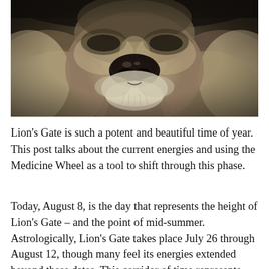[Figure (photo): Close-up black and white / sepia photograph of a lion's face, focusing on the nose, muzzle, and fur. The image is cropped so the lion's snout and lower face dominate the frame.]
Lion's Gate is such a potent and beautiful time of year. This post talks about the current energies and using the Medicine Wheel as a tool to shift through this phase.
Today, August 8, is the day that represents the height of Lion's Gate – and the point of mid-summer. Astrologically, Lion's Gate takes place July 26 through August 12, though many feel its energies extended beyond these dates. This corridor of time represents